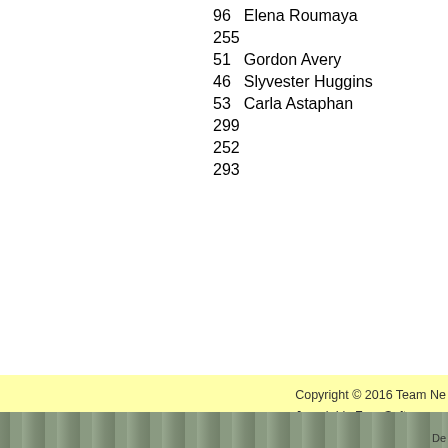| ID | Name |
| --- | --- |
|  |  |
| 96 | Elena Roumaya |
| 255 |  |
| 51 | Gordon Avery |
| 46 | Slyvester Huggins |
| 53 | Carla Astaphan |
| 299 |  |
| 252 |  |
| 293 |  |
Copyright © 2016 Team Ne... Joomla! is Free Software re...